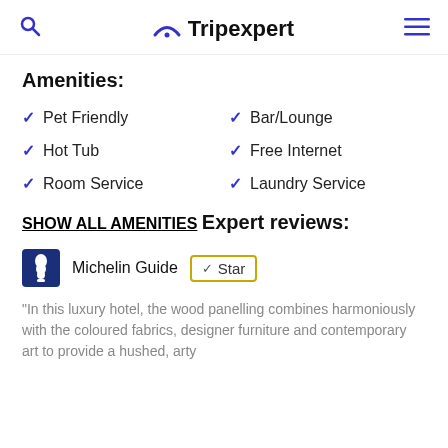Tripexpert
Amenities:
Pet Friendly
Bar/Lounge
Hot Tub
Free Internet
Room Service
Laundry Service
SHOW ALL AMENITIES
Expert reviews:
Michelin Guide ✓ Star
"In this luxury hotel, the wood panelling combines harmoniously with the coloured fabrics, designer furniture and contemporary art to provide a hushed, arty